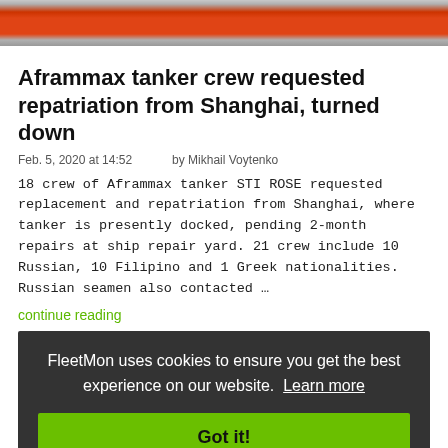[Figure (photo): Top portion of an Aframmax tanker ship, showing orange/red hull and gray structures at the top of the page]
Aframmax tanker crew requested repatriation from Shanghai, turned down
Feb. 5, 2020 at 14:52       by Mikhail Voytenko
18 crew of Aframmax tanker STI ROSE requested replacement and repatriation from Shanghai, where tanker is presently docked, pending 2-month repairs at ship repair yard. 21 crew include 10 Russian, 10 Filipino and 1 Greek nationalities. Russian seamen also contacted …
continue reading
FleetMon uses cookies to ensure you get the best experience on our website. Learn more
Got it!
[Figure (photo): Bottom strip showing partial harbor/port scene with ships and cranes]